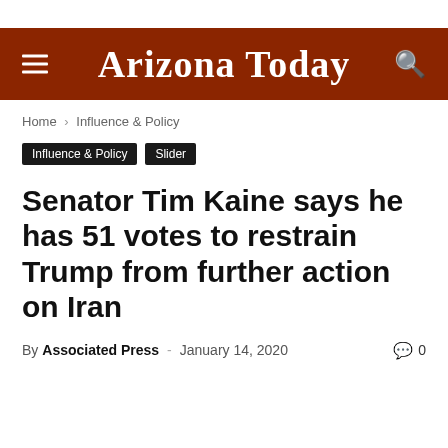Arizona Today
Home › Influence & Policy
Influence & Policy   Slider
Senator Tim Kaine says he has 51 votes to restrain Trump from further action on Iran
By Associated Press – January 14, 2020   0